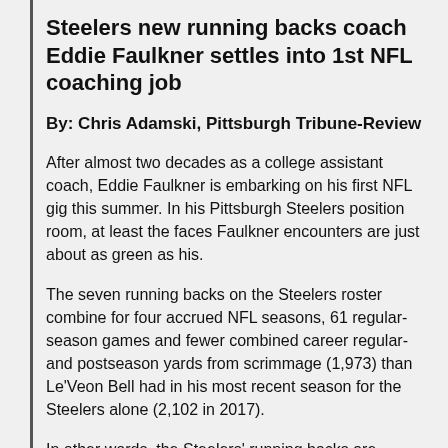Steelers new running backs coach Eddie Faulkner settles into 1st NFL coaching job
By: Chris Adamski, Pittsburgh Tribune-Review
After almost two decades as a college assistant coach, Eddie Faulkner is embarking on his first NFL gig this summer. In his Pittsburgh Steelers position room, at least the faces Faulkner encounters are just about as green as his.
The seven running backs on the Steelers roster combine for four accrued NFL seasons, 61 regular-season games and fewer combined career regular- and postseason yards from scrimmage (1,973) than Le'Veon Bell had in his most recent season for the Steelers alone (2,102 in 2017).
In other words, the Steelers' running backs are